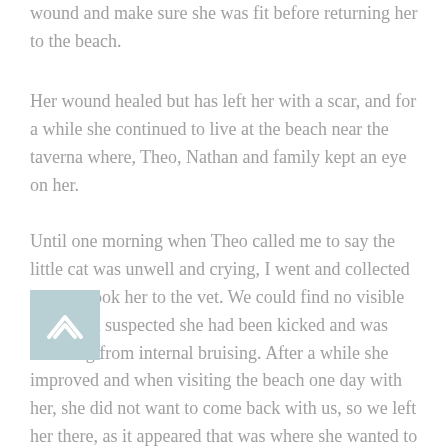wound and make sure she was fit before returning her to the beach.
Her wound healed but has left her with a scar, and for a while she continued to live at the beach near the taverna where, Theo, Nathan and family kept an eye on her.
Until one morning when Theo called me to say the little cat was unwell and crying, I went and collected her and took her to the vet. We could find no visible injury but suspected she had been kicked and was suffering from internal bruising. After a while she improved and when visiting the beach one day with her, she did not want to come back with us, so we left her there, as it appeared that was where she wanted to be. We continued to take her food during the wintertime until one day, I was very late, and rushed down to the beach to take food for the cats,  there laying in the grass beside the taverna was 'Little